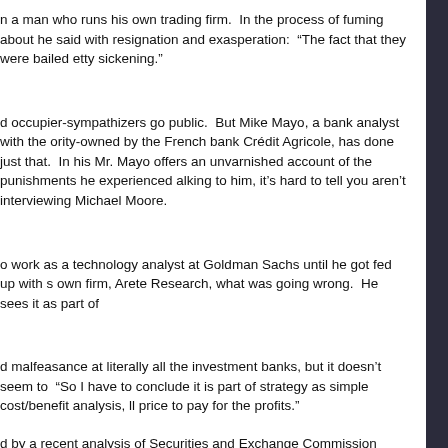n a man who runs his own trading firm.  In the process of fuming about he said with resignation and exasperation:  “The fact that they were bailed etty sickening.”
d occupier-sympathizers go public.  But Mike Mayo, a bank analyst with the ority-owned by the French bank Crédit Agricole, has done just that.  In his Mr. Mayo offers an unvarnished account of the punishments he experienced alking to him, it’s hard to tell you aren’t interviewing Michael Moore.
o work as a technology analyst at Goldman Sachs until he got fed up with s own firm, Arete Research, what was going wrong.  He sees it as part of
d malfeasance at literally all the investment banks, but it doesn’t seem to  “So I have to conclude it is part of strategy as simple cost/benefit analysis, ll price to pay for the profits.”
d by a recent analysis of Securities and Exchange Commission documents ed “that since 1996, there have been at least 51 repeat violations by those have each had six repeat violations, while Merrill Lynch and UBS have each